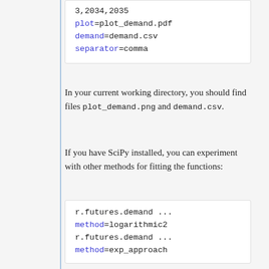3,2034,2035
plot=plot_demand.pdf
demand=demand.csv
separator=comma
In your current working directory, you should find files plot_demand.png and demand.csv.
If you have SciPy installed, you can experiment with other methods for fitting the functions:
r.futures.demand ...
method=logarithmic2
r.futures.demand ...
method=exp_approach
If necessary, you can create a set of demand files produced by fitting each method separately and then pick for each county the method which seems